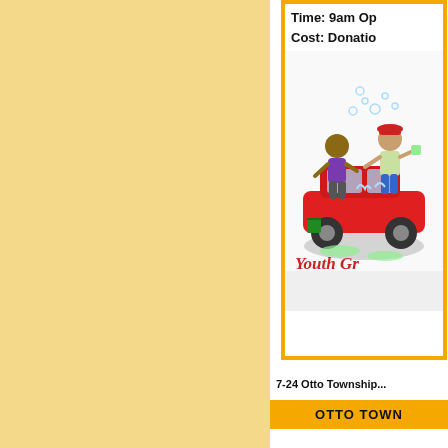Time: 9am Op...
Cost: Donatio...
[Figure (illustration): Cartoon illustration of children washing a red car with soap suds and buckets, labeled 'Youth Gr...' at the bottom in red cursive text]
7-24 Otto Township...
OTTO TOWN...